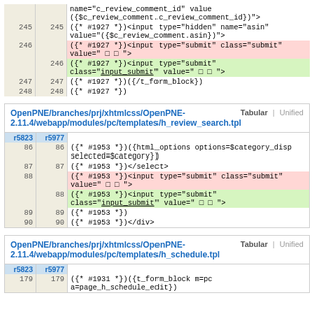|  |  | code |
| --- | --- | --- |
|  |  | name="c_review_comment_id" value
({$c_review_comment.c_review_comment_id})"> |
| 245 | 245 | ({* #1927 *})<input type="hidden" name="asin"
value="({$c_review_comment.asin})"> |
| 246 |  | ({* #1927 *})<input type="submit" class="submit"
value=" □ □ "> |
|  | 246 | ({* #1927 *})<input type="submit"
class="input_submit" value=" □ □ "> |
| 247 | 247 | ({* #1927 *})({/t_form_block}) |
| 248 | 248 | ({* #1927 *}) |
OpenPNE/branches/prj/xhtmlcss/OpenPNE-2.11.4/webapp/modules/pc/templates/h_review_search.tpl
| r5823 | r5977 | code |
| --- | --- | --- |
| 86 | 86 | ({* #1953 *})({html_options options=$category_disp
selected=$category}) |
| 87 | 87 | ({* #1953 *})</select> |
| 88 |  | ({* #1953 *})<input type="submit" class="submit"
value=" □ □ "> |
|  | 88 | ({* #1953 *})<input type="submit"
class="input_submit" value=" □ □ "> |
| 89 | 89 | ({* #1953 *}) |
| 90 | 90 | ({* #1953 *})</div> |
OpenPNE/branches/prj/xhtmlcss/OpenPNE-2.11.4/webapp/modules/pc/templates/h_schedule.tpl
| r5823 | r5977 | code |
| --- | --- | --- |
| 179 | 179 | ({* #1931 *})({t_form_block m=pc
a=page_h_schedule_edit}) |